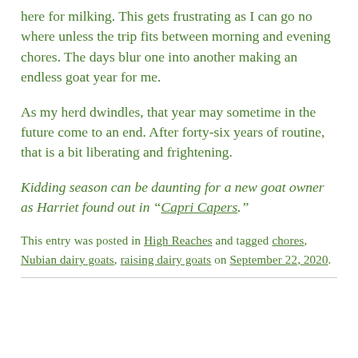here for milking. This gets frustrating as I can go no where unless the trip fits between morning and evening chores. The days blur one into another making an endless goat year for me.
As my herd dwindles, that year may sometime in the future come to an end. After forty-six years of routine, that is a bit liberating and frightening.
Kidding season can be daunting for a new goat owner as Harriet found out in “Capri Capers.”
This entry was posted in High Reaches and tagged chores, Nubian dairy goats, raising dairy goats on September 22, 2020.